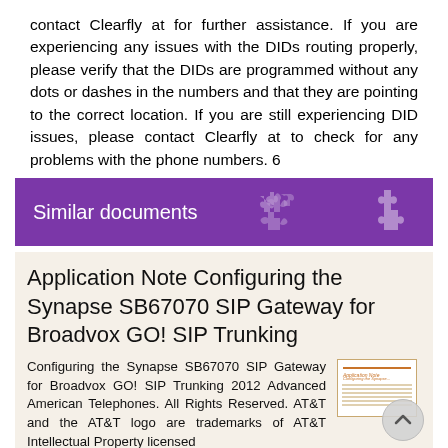contact Clearfly at for further assistance. If you are experiencing any issues with the DIDs routing properly, please verify that the DIDs are programmed without any dots or dashes in the numbers and that they are pointing to the correct location. If you are still experiencing DID issues, please contact Clearfly at to check for any problems with the phone numbers. 6
Similar documents
Application Note Configuring the Synapse SB67070 SIP Gateway for Broadvox GO! SIP Trunking
Configuring the Synapse SB67070 SIP Gateway for Broadvox GO! SIP Trunking 2012 Advanced American Telephones. All Rights Reserved. AT&T and the AT&T logo are trademarks of AT&T Intellectual Property licensed